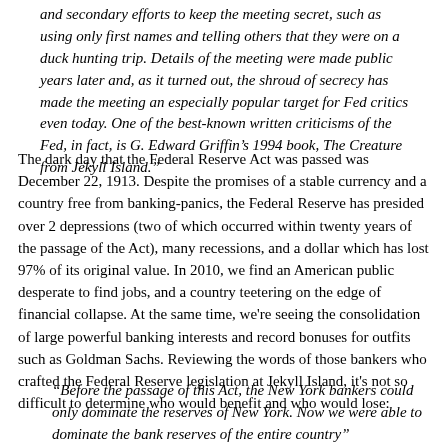and secondary efforts to keep the meeting secret, such as using only first names and telling others that they were on a duck hunting trip. Details of the meeting were made public years later and, as it turned out, the shroud of secrecy has made the meeting an especially popular target for Fed critics even today. One of the best-known written criticisms of the Fed, in fact, is G. Edward Griffin's 1994 book, The Creature from Jekyll Island."
The dark day that the Federal Reserve Act was passed was December 22, 1913. Despite the promises of a stable currency and a country free from banking-panics, the Federal Reserve has presided over 2 depressions (two of which occurred within twenty years of the passage of the Act), many recessions, and a dollar which has lost 97% of its original value. In 2010, we find an American public desperate to find jobs, and a country teetering on the edge of financial collapse. At the same time, we're seeing the consolidation of large powerful banking interests and record bonuses for outfits such as Goldman Sachs. Reviewing the words of those bankers who crafted the Federal Reserve legislation at Jekyll Island, it's not so difficult to determine who would benefit and who would lose:
“Before the passage of this Act, the New York bankers could only dominate the reserves of New York. Now we were able to dominate the bank reserves of the entire country”